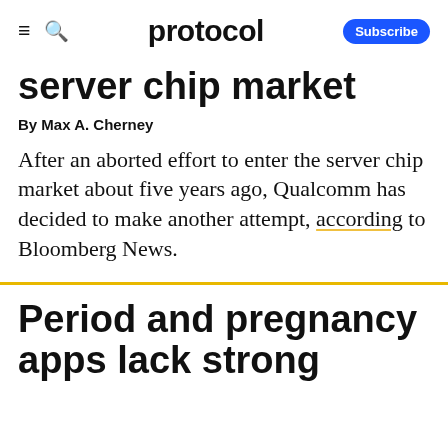protocol  Subscribe
server chip market
By Max A. Cherney
After an aborted effort to enter the server chip market about five years ago, Qualcomm has decided to make another attempt, according to Bloomberg News.
Period and pregnancy apps lack strong